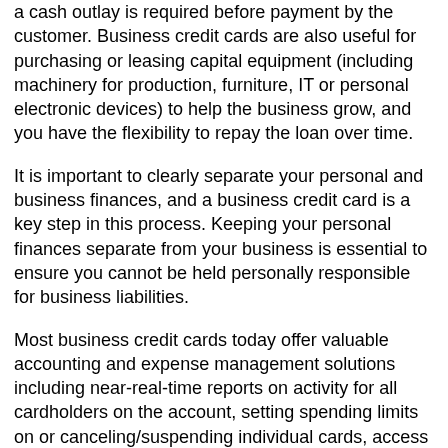a cash outlay is required before payment by the customer. Business credit cards are also useful for purchasing or leasing capital equipment (including machinery for production, furniture, IT or personal electronic devices) to help the business grow, and you have the flexibility to repay the loan over time.
It is important to clearly separate your personal and business finances, and a business credit card is a key step in this process. Keeping your personal finances separate from your business is essential to ensure you cannot be held personally responsible for business liabilities.
Most business credit cards today offer valuable accounting and expense management solutions including near-real-time reports on activity for all cardholders on the account, setting spending limits on or canceling/suspending individual cards, access to past activity for each card, account alerts, setting cash advance limits, and automatically breaking expenses down into categories for expense management
Business credit cards also make it easy to maximize tax deductions. You can, for example, use credit for capital